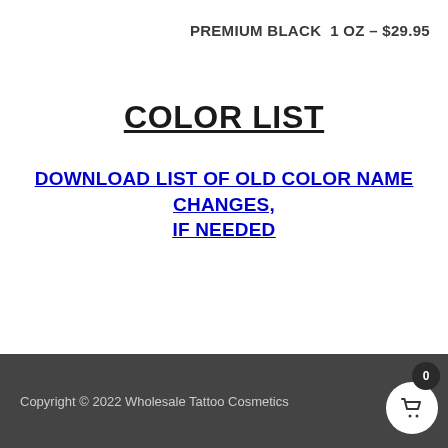PREMIUM BLACK  1 OZ – $29.95
COLOR LIST
DOWNLOAD LIST OF OLD COLOR NAME CHANGES, IF NEEDED
Copyright © 2022 Wholesale Tattoo Cosmetics